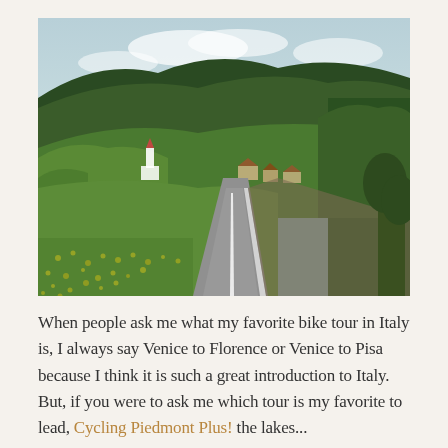[Figure (photo): A scenic alpine road in Italy stretching into the distance, flanked by green meadows with yellow wildflowers on the left, trees on the right, and a valley village with a white church steeple visible in the background against forested mountain slopes under a partly cloudy sky.]
When people ask me what my favorite bike tour in Italy is, I always say Venice to Florence or Venice to Pisa because I think it is such a great introduction to Italy. But, if you were to ask me which tour is my favorite to lead, Cycling Piedmont Plus! the lakes...